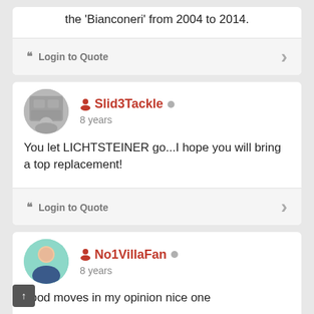the 'Bianconeri' from 2004 to 2014.
" Login to Quote
Slid3Tackle
8 years
You let LICHTSTEINER go...I hope you will bring a top replacement!
" Login to Quote
No1VillaFan
8 years
good moves in my opinion nice one